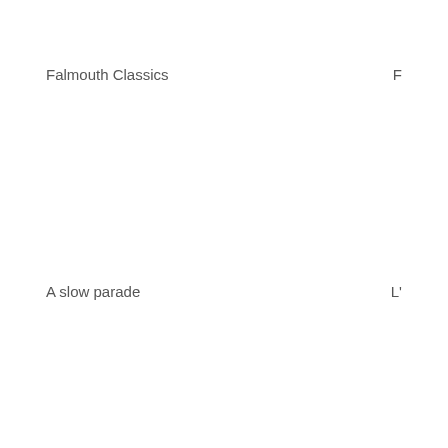Falmouth Classics
F
A slow parade
L'